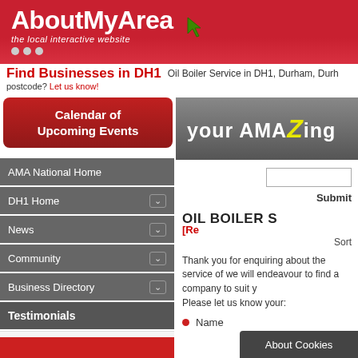[Figure (logo): AboutMyArea logo with tagline 'the local interactive website' on red background with cursor icon]
Find Businesses in DH1   Oil Boiler Service in DH1, Durham, Durh
postcode? Let us know!
Calendar of Upcoming Events
AMA National Home
DH1 Home
News
Community
Business Directory
Testimonials
"A brilliant site full of local information. I am happy to advertise my business here."
- Dave Harris (e-X-treme Systems)
[Figure (screenshot): your AMAZing banner on grey gradient background]
Submit
OIL BOILER S
[Re
Sort
Thank you for enquiring about the service of we will endeavour to find a company to suit y
Please let us know your:
Name
About Cookies